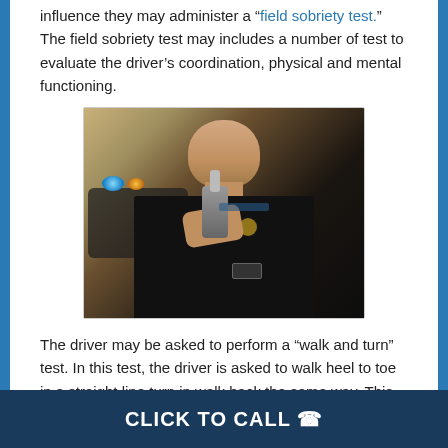influence they may administer a "field sobriety test." The field sobriety test may includes a number of test to evaluate the driver's coordination, physical and mental functioning.
[Figure (photo): A police officer in uniform holding a breathalyzer device toward the camera, with a police car with flashing blue and orange lights visible in the background.]
The driver may be asked to perform a “walk and turn” test. In this test, the driver is asked to walk heel to toe in a straight line turn in walk back the same way. This test evaluates a driver's coordination and balance. The driver may be asked
CLICK TO CALL ☎